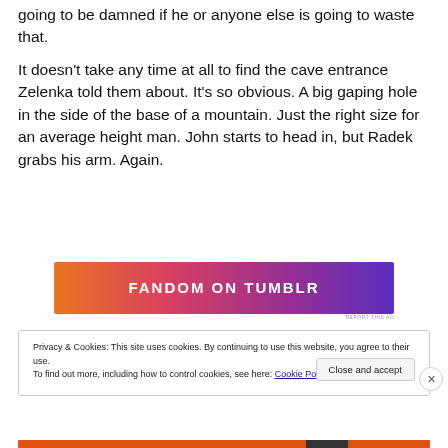going to be damned if he or anyone else is going to waste that.
It doesn't take any time at all to find the cave entrance Zelenka told them about. It's so obvious. A big gaping hole in the side of the base of a mountain. Just the right size for an average height man. John starts to head in, but Radek grabs his arm. Again.
[Figure (other): Fandom on Tumblr advertisement banner with colorful gradient background (orange, pink, purple) and bold white text reading FANDOM ON tumblr]
Privacy & Cookies: This site uses cookies. By continuing to use this website, you agree to their use.
To find out more, including how to control cookies, see here: Cookie Policy
Close and accept